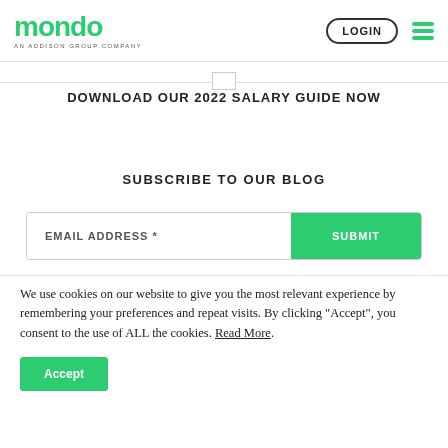MONDO — AN ADDISON GROUP COMPANY | LOGIN
DOWNLOAD OUR 2022 SALARY GUIDE NOW
SUBSCRIBE TO OUR BLOG
EMAIL ADDRESS * SUBMIT
We use cookies on our website to give you the most relevant experience by remembering your preferences and repeat visits. By clicking “Accept”, you consent to the use of ALL the cookies. Read More.
Accept